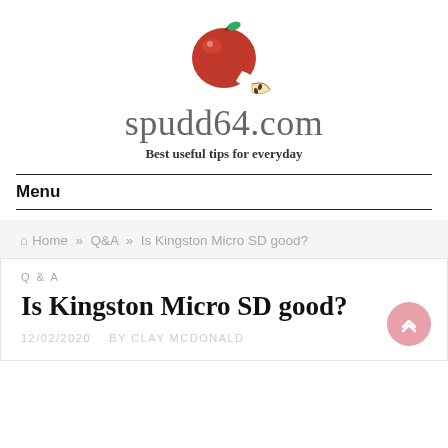[Figure (illustration): Red apple with a slice/wedge cut out, illustrated logo for spudd64.com]
spudd64.com
Best useful tips for everyday
Menu
Home » Q&A » Is Kingston Micro SD good?
Q & A
Is Kingston Micro SD good?
12/02/2020   BY CLAY MCDONALD